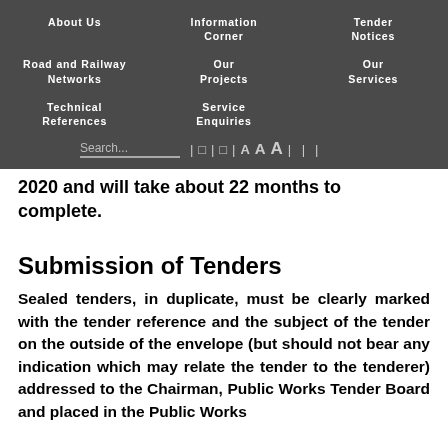About Us | Information Corner | Tender Notices | Road and Railway Networks | Our Projects | Our Services | Technical References | Service Enquiries
2020 and will take about 22 months to complete.
Submission of Tenders
Sealed tenders, in duplicate, must be clearly marked with the tender reference and the subject of the tender on the outside of the envelope (but should not bear any indication which may relate the tender to the tenderer) addressed to the Chairman, Public Works Tender Board and placed in the Public Works